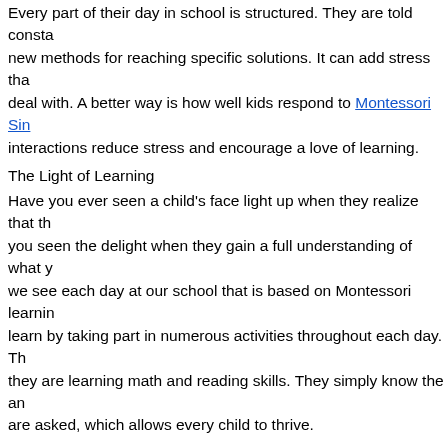Every part of their day in school is structured. They are told constantly new methods for reaching specific solutions. It can add stress that kids deal with. A better way is how well kids respond to Montessori Singapore interactions reduce stress and encourage a love of learning.
The Light of Learning
Have you ever seen a child's face light up when they realize that they you seen the delight when they gain a full understanding of what you we see each day at our school that is based on Montessori learning. learn by taking part in numerous activities throughout each day. They they are learning math and reading skills. They simply know the answers are asked, which allows every child to thrive.
Our Techniques
The Montessori technique is designed to simply build on what children on their natural curiosity about the world around them and makes fun and games when learning. They do not feel pressured to learn realize that they can. They do not feel that they have to learn to use to count, add, remove, objects that are grouped together. Kids learn through board games, puzzles, and numerous activities that simply
Our Parents and Students
Every parent that walks through our doors, concerned about their will allow them in the process giving their children and their f